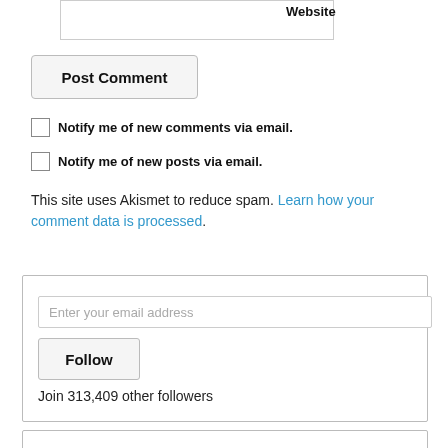Website
Post Comment
Notify me of new comments via email.
Notify me of new posts via email.
This site uses Akismet to reduce spam. Learn how your comment data is processed.
Enter your email address
Follow
Join 313,409 other followers